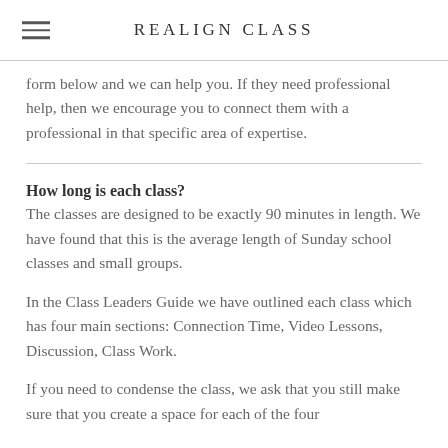REALIGN CLASS
form below and we can help you. If they need professional help, then we encourage you to connect them with a professional in that specific area of expertise.
How long is each class?
The classes are designed to be exactly 90 minutes in length. We have found that this is the average length of Sunday school classes and small groups.
In the Class Leaders Guide we have outlined each class which has four main sections: Connection Time, Video Lessons, Discussion, Class Work.
If you need to condense the class, we ask that you still make sure that you create a space for each of the four